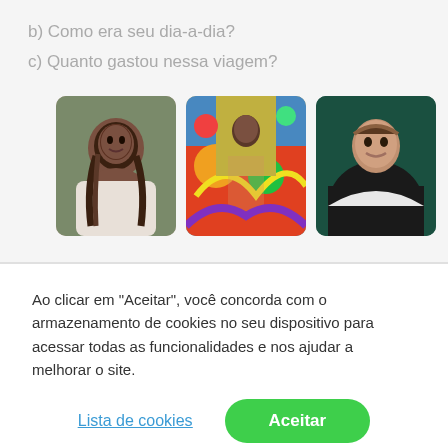b) Como era seu dia-a-dia?
c) Quanto gastou nessa viagem?
[Figure (photo): Three photos: a smiling woman with braids outdoors, a person in front of a colorful mural wall, and a young man in a black hoodie on a green background]
Ao clicar em “Aceitar”, você concorda com o armazenamento de cookies no seu dispositivo para acessar todas as funcionalidades e nos ajudar a melhorar o site.
Lista de cookies
Aceitar